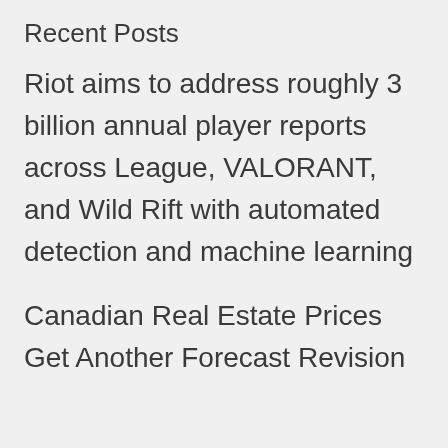Recent Posts
Riot aims to address roughly 3 billion annual player reports across League, VALORANT, and Wild Rift with automated detection and machine learning
Canadian Real Estate Prices Get Another Forecast Revision